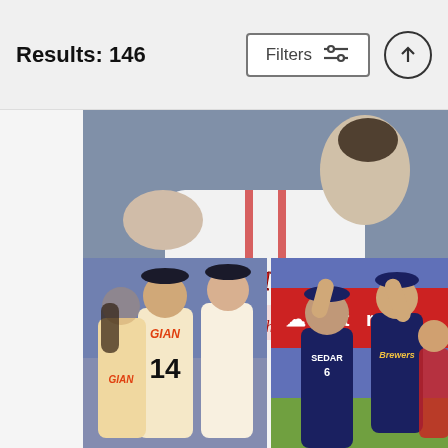Results: 146
Filters
[Figure (photo): Baseball player wearing Atlanta Braves white uniform jersey, raising arm, viewed from chest down, crowd blurred in background]
Aaron Harang
Kevin C. Cox
$9.62
[Figure (photo): San Francisco Giants baseball players including player #14 in Giants uniform gathered together, possibly a dispute or celebration on field]
[Figure (photo): Milwaukee Brewers players including player SEDAR #6 celebrating with high fives, State Farm advertisement banner in background]